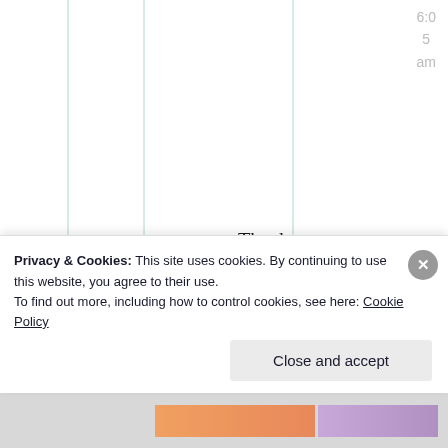6:05 am
Thank you so much, theearthspins, very interesting 🙂
[Figure (screenshot): Cookie consent banner overlay with close button and 'Close and accept' button]
Privacy & Cookies: This site uses cookies. By continuing to use this website, you agree to their use. To find out more, including how to control cookies, see here: Cookie Policy
Close and accept